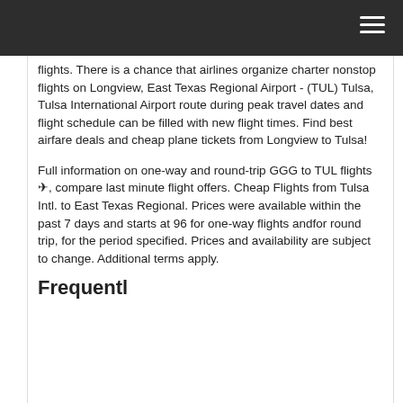flights. There is a chance that airlines organize charter nonstop flights on Longview, East Texas Regional Airport - (TUL) Tulsa, Tulsa International Airport route during peak travel dates and flight schedule can be filled with new flight times. Find best airfare deals and cheap plane tickets from Longview to Tulsa!
Full information on one-way and round-trip GGG to TUL flights ✈, compare last minute flight offers. Cheap Flights from Tulsa Intl. to East Texas Regional. Prices were available within the past 7 days and starts at 96 for one-way flights andfor round trip, for the period specified. Prices and availability are subject to change. Additional terms apply.
Frequently